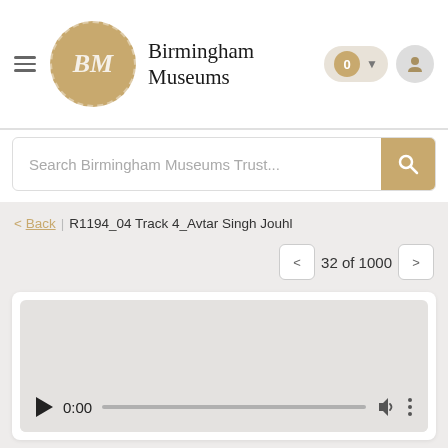Birmingham Museums
Search Birmingham Museums Trust...
< Back | R1194_04 Track 4_Avtar Singh Jouhl
32 of 1000
[Figure (screenshot): Audio player widget with play button, time display 0:00, progress bar, volume and more icons]